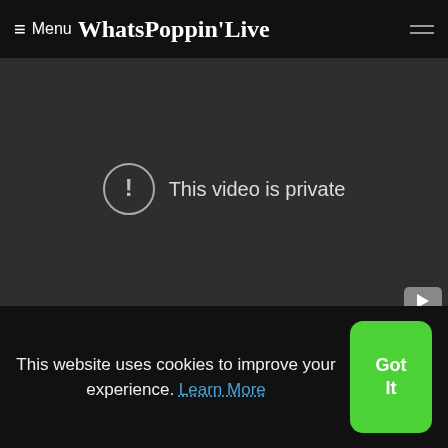≡ Menu WhatsPoppinLive
[Figure (screenshot): Video player showing 'This video is private' message with exclamation icon on dark background]
GHOSTED
[Figure (photo): Silhouette of two people's heads against white background]
Fall for your type x Freestyle
This website uses cookies to improve your experience. Learn More
Got It